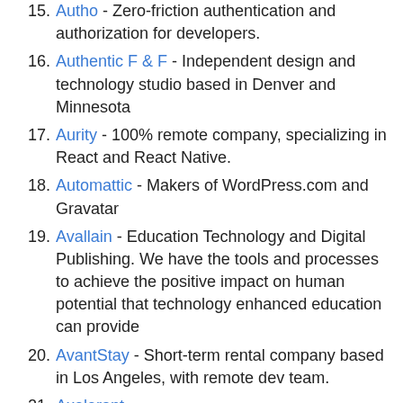15. Autho - Zero-friction authentication and authorization for developers.
16. Authentic F & F - Independent design and technology studio based in Denver and Minnesota
17. Aurity - 100% remote company, specializing in React and React Native.
18. Automattic - Makers of WordPress.com and Gravatar
19. Avallain - Education Technology and Digital Publishing. We have the tools and processes to achieve the positive impact on human potential that technology enhanced education can provide
20. AvantStay - Short-term rental company based in Los Angeles, with remote dev team.
21. Axelerant
22. BandLab - Social music platform that enables creators to make music and share the creative process with musicians and fans.